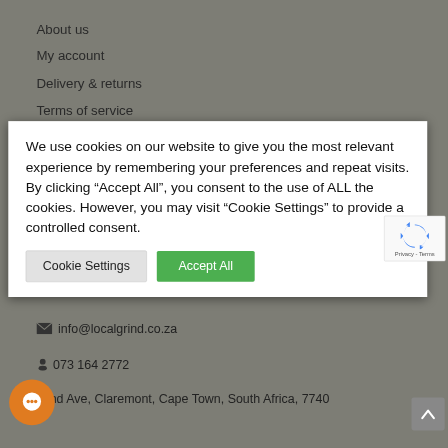About us
My account
Delivery & returns
Terms of service
We use cookies on our website to give you the most relevant experience by remembering your preferences and repeat visits. By clicking “Accept All”, you consent to the use of ALL the cookies. However, you may visit “Cookie Settings” to provide a controlled consent.
Cookie Settings
Accept All
info@localgrind.co.za
073 164 2772
cond Ave, Claremont, Cape Town, South Africa, 7740